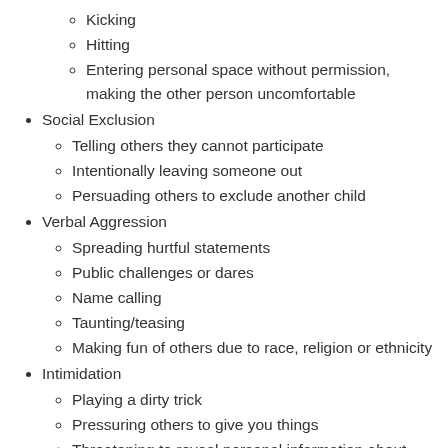Kicking
Hitting
Entering personal space without permission, making the other person uncomfortable
Social Exclusion
Telling others they cannot participate
Intentionally leaving someone out
Persuading others to exclude another child
Verbal Aggression
Spreading hurtful statements
Public challenges or dares
Name calling
Taunting/teasing
Making fun of others due to race, religion or ethnicity
Intimidation
Playing a dirty trick
Pressuring others to give you things
Threatening to reveal personal information about others